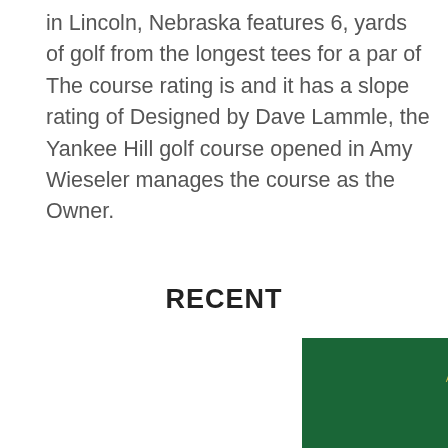in Lincoln, Nebraska features 6, yards of golf from the longest tees for a par of The course rating is and it has a slope rating of Designed by Dave Lammle, the Yankee Hill golf course opened in Amy Wieseler manages the course as the Owner.
RECENT
[Figure (illustration): Green book cover with 'AMERICAN LANGUAGE REPRINTS' text in gold and an arrowhead symbol outline in gold/yellow on a dark green background.]